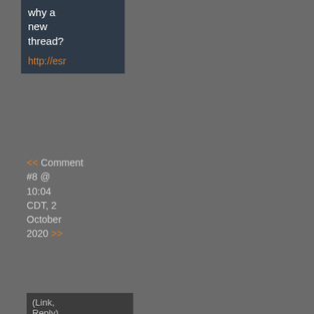why a new thread?
http://es...
<< Comment #8 @ 10:04 CDT, 2 October 2020 >>
(Link, Reply)
By
nex1 - - Reply to #2
Didn't know if there were other active thread I haven...